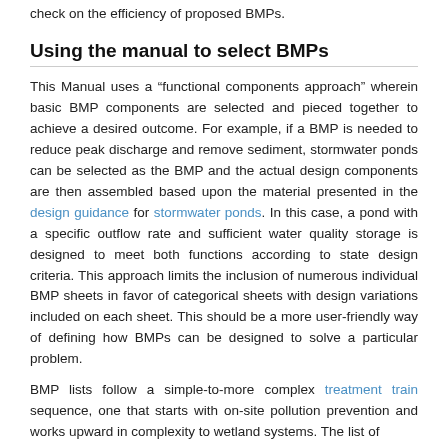check on the efficiency of proposed BMPs.
Using the manual to select BMPs
This Manual uses a “functional components approach” wherein basic BMP components are selected and pieced together to achieve a desired outcome. For example, if a BMP is needed to reduce peak discharge and remove sediment, stormwater ponds can be selected as the BMP and the actual design components are then assembled based upon the material presented in the design guidance for stormwater ponds. In this case, a pond with a specific outflow rate and sufficient water quality storage is designed to meet both functions according to state design criteria. This approach limits the inclusion of numerous individual BMP sheets in favor of categorical sheets with design variations included on each sheet. This should be a more user-friendly way of defining how BMPs can be designed to solve a particular problem.
BMP lists follow a simple-to-more complex treatment train sequence, one that starts with on-site pollution prevention and works upward in complexity to wetland systems. The list of